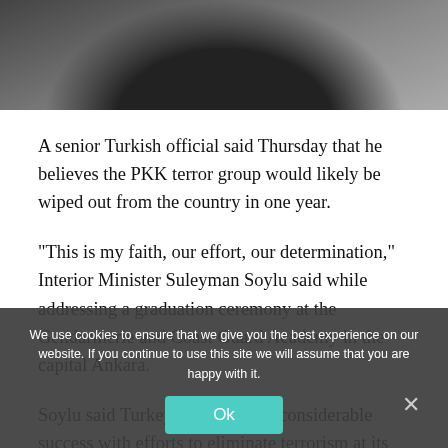[Figure (photo): Partial view of a person in formal attire (dark suit and tie) at what appears to be an official event, cropped to show only upper body region]
A senior Turkish official said Thursday that he believes the PKK terror group would likely be wiped out from the country in one year.
“This is my faith, our effort, our determination,” Interior Minister Suleyman Soylu said while addressing a graduation ceremony at the Gendarmerie and Coast Guard Academy in the capital Ankara.
Soylu said Turkey had achieved considerable success with efforts to eliminate terrorism at its source by conducting uninterrupted operations year-round.
The number of PKK terrorists inside the country is below 340,
We use cookies to ensure that we give you the best experience on our website. If you continue to use this site we will assume that you are happy with it.